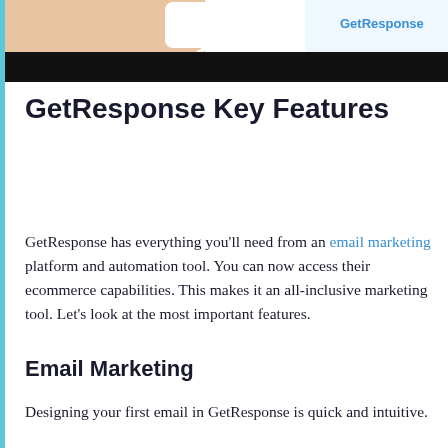[Figure (screenshot): Hero image showing GetResponse interface with peach/orange illustration on left, white speech bubble, and dark black bar at bottom with GetResponse logo text visible at top right]
GetResponse Key Features
GetResponse has everything you'll need from an email marketing platform and automation tool. You can now access their ecommerce capabilities. This makes it an all-inclusive marketing tool. Let's look at the most important features.
Email Marketing
Designing your first email in GetResponse is quick and intuitive.